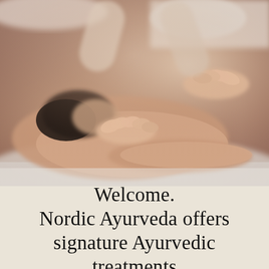[Figure (photo): A person receiving an Ayurvedic back massage. A therapist's hands are pressing on the back of a person lying face down on a massage table. The image is warm-toned with soft focus.]
Welcome. Nordic Ayurveda offers signature Ayurvedic treatments